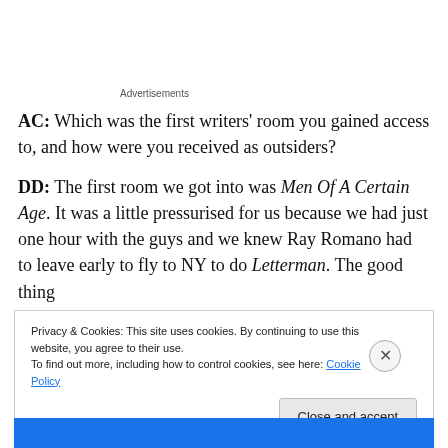Advertisements
AC: Which was the first writers' room you gained access to, and how were you received as outsiders?
DD: The first room we got into was Men Of A Certain Age. It was a little pressurised for us because we had just one hour with the guys and we knew Ray Romano had to leave early to fly to NY to do Letterman. The good thing
Privacy & Cookies: This site uses cookies. By continuing to use this website, you agree to their use.
To find out more, including how to control cookies, see here: Cookie Policy